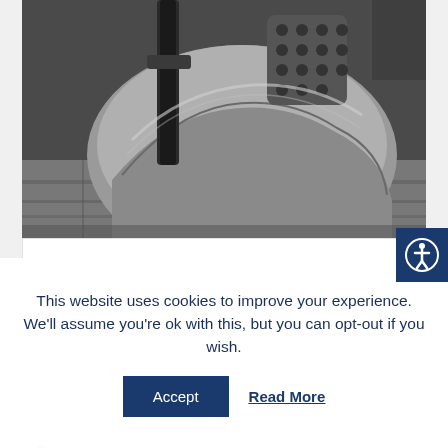[Figure (photo): Close-up photo of a medieval metal helmet/armor piece with rivets and a sword or weapon handle visible, resting on stone cobblestones. Dark, gritty aesthetic with muted grey and silver tones.]
This website uses cookies to improve your experience. We'll assume you're ok with this, but you can opt-out if you wish.
Accept   Read More